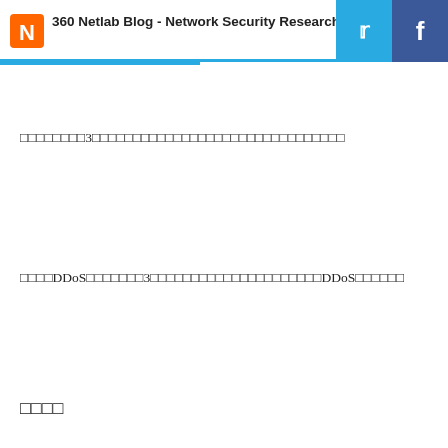360 Netlab Blog - Network Security Research La
□□□□□□□□3□□□□□□□□□□□□□□□□□□□□□□□□□□□□□□□
□□□□DDoS□□□□□□□3□□□□□□□□□□□□□□□□□□□□□DDoS□□□□□□
□□□□